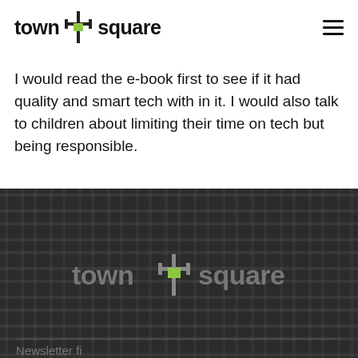town square
I would read the e-book first to see if it had quality and smart tech with in it. I would also talk to children about limiting their time on tech but being responsible.
[Figure (logo): Town Square logo in grey/white on dark woven background pattern]
Newsletter fi...